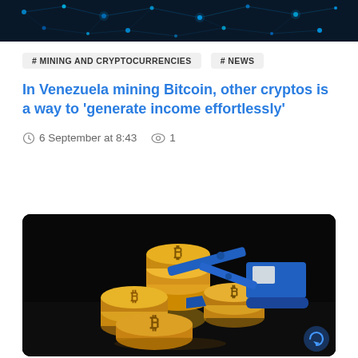[Figure (photo): Top banner showing a blue digital network/blockchain technology image with glowing nodes and connections on a dark background]
# MINING AND CRYPTOCURRENCIES   # NEWS
In Venezuela mining Bitcoin, other cryptos is a way to 'generate income effortlessly'
6 September at 8:43   1
[Figure (photo): Photo of gold Bitcoin coins stacked on a dark surface with a blue toy excavator/crane machine appearing to dig into the coins, referencing cryptocurrency mining]